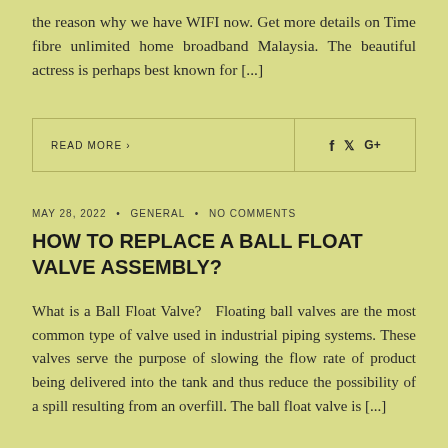the reason why we have WIFI now. Get more details on Time fibre unlimited home broadband Malaysia. The beautiful actress is perhaps best known for [...]
READ MORE >
f  𝒛  G+
MAY 28, 2022 • GENERAL • NO COMMENTS
HOW TO REPLACE A BALL FLOAT VALVE ASSEMBLY?
What is a Ball Float Valve?   Floating ball valves are the most common type of valve used in industrial piping systems. These valves serve the purpose of slowing the flow rate of product being delivered into the tank and thus reduce the possibility of a spill resulting from an overfill. The ball float valve is [...]